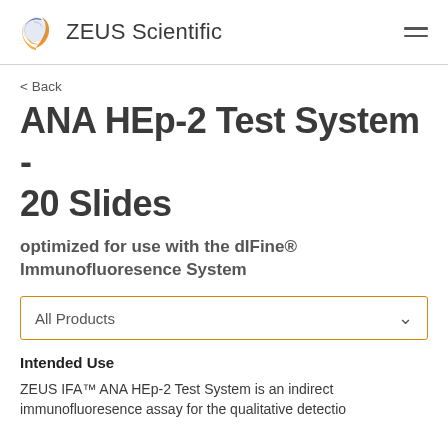ZEUS Scientific
< Back
ANA HEp-2 Test System - 20 Slides
optimized for use with the dIFine® Immunofluoresence System
All Products
Intended Use
ZEUS IFA™ ANA HEp-2 Test System is an indirect immunofluoresence assay for the qualitative detection...